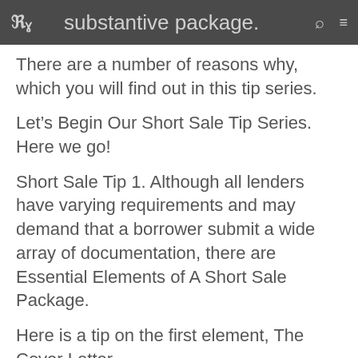RC substantive package. [search icon] [menu icon]
There are a number of reasons why, which you will find out in this tip series.
Let’s Begin Our Short Sale Tip Series. Here we go!
Short Sale Tip 1. Although all lenders have varying requirements and may demand that a borrower submit a wide array of documentation, there are Essential Elements of A Short Sale Package.
Here is a tip on the first element, The Cover Letter